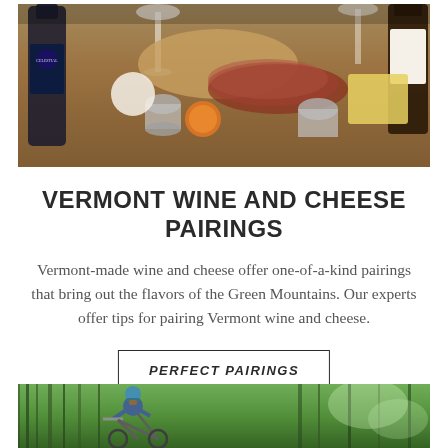[Figure (photo): A charcuterie and cheese board spread with wine glasses, meats, crackers, small metal condiment cups, and orange slices]
VERMONT WINE AND CHEESE PAIRINGS
Vermont-made wine and cheese offer one-of-a-kind pairings that bring out the flavors of the Green Mountains. Our experts offer tips for pairing Vermont wine and cheese.
PERFECT PAIRINGS
[Figure (photo): A person in a helmet biking through a forested trail with trees in the background]